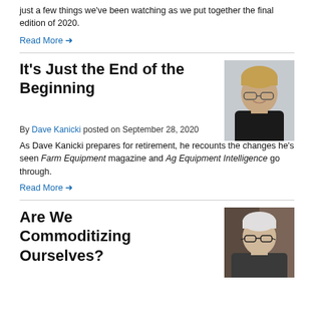just a few things we've been watching as we put together the final edition of 2020.
Read More →
It's Just the End of the Beginning
By Dave Kanicki posted on September 28, 2020
[Figure (photo): Headshot of Dave Kanicki, a middle-aged man with glasses wearing a black polo shirt]
As Dave Kanicki prepares for retirement, he recounts the changes he's seen Farm Equipment magazine and Ag Equipment Intelligence go through.
Read More →
Are We Commoditizing Ourselves?
[Figure (photo): Headshot of an older man with white hair and glasses]